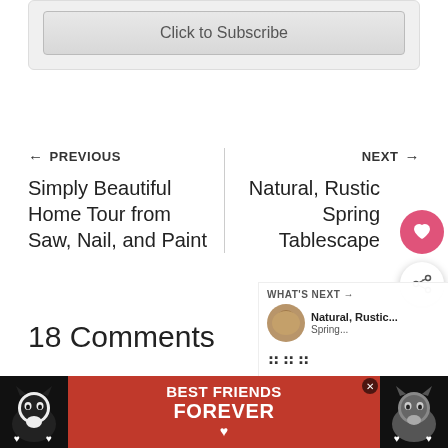[Figure (screenshot): Subscribe box with 'Click to Subscribe' button on grey background]
← PREVIOUS
Simply Beautiful Home Tour from Saw, Nail, and Paint
NEXT →
Natural, Rustic Spring Tablescape
18 Comments
[Figure (photo): Best Friends Forever advertisement banner with cats]
[Figure (screenshot): What's Next panel showing Natural, Rustic thumbnail]